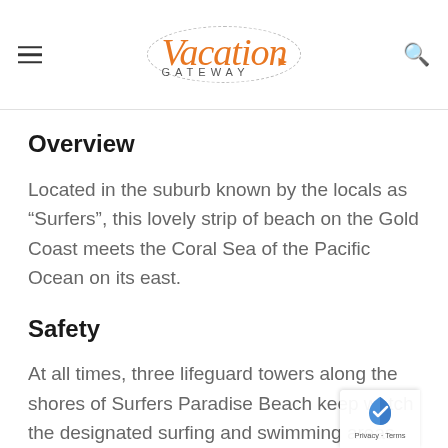Vacation Gateway
Overview
Located in the suburb known by the locals as “Surfers”, this lovely strip of beach on the Gold Coast meets the Coral Sea of the Pacific Ocean on its east.
Safety
At all times, three lifeguard towers along the shores of Surfers Paradise Beach keep watch on the designated surfing and swimming areas.